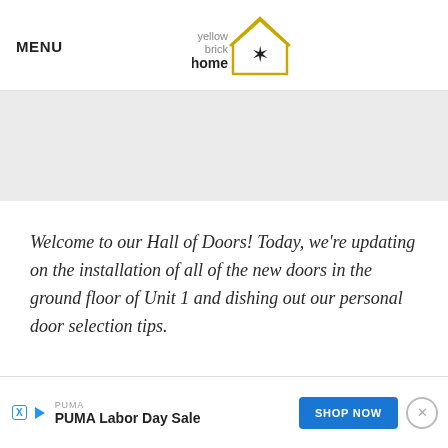MENU | yellow brick home
[Figure (other): Gray banner/advertisement placeholder area]
Welcome to our Hall of Doors! Today, we're updating on the installation of all of the new doors in the ground floor of Unit 1 and dishing out our personal door selection tips.
[Figure (other): PUMA advertisement banner with SHOP NOW button]